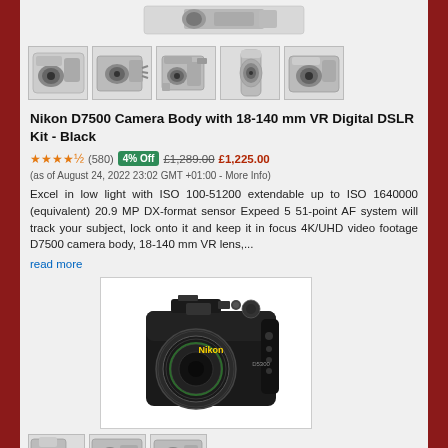[Figure (photo): Top thumbnail row of Nikon D7500 camera from multiple angles - 5 small product images]
Nikon D7500 Camera Body with 18-140 mm VR Digital DSLR Kit - Black
★★★★½ (580) 4% Off £1,289.00 £1,225.00 (as of August 24, 2022 23:02 GMT +01:00 - More Info)
Excel in low light with ISO 100-51200 extendable up to ISO 1640000 (equivalent) 20.9 MP DX-format sensor Expeed 5 51-point AF system will track your subject, lock onto it and keep it in focus 4K/UHD video footage D7500 camera body, 18-140 mm VR lens,... read more
[Figure (photo): Large product photo of Nikon D5300 DSLR camera with lens attached, shown against white background]
[Figure (photo): Bottom row of small camera thumbnail images]